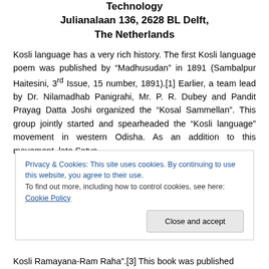Technology
Julianalaan 136, 2628 BL Delft,
The Netherlands
Kosli language has a very rich history. The first Kosli language poem was published by “Madhusudan” in 1891 (Sambalpur Haitesini, 3rd Issue, 15 number, 1891).[1] Earlier, a team lead by Dr. Nilamadhab Panigrahi, Mr. P. R. Dubey and Pandit Prayag Datta Joshi organized the “Kosal Sammellan”. This group jointly started and spearheaded the “Kosli language” movement in western Odisha. As an addition to this movement, late Satya
Privacy & Cookies: This site uses cookies. By continuing to use this website, you agree to their use.
To find out more, including how to control cookies, see here: Cookie Policy
Kosli Ramayana-Ram Raha".[3] This book was published